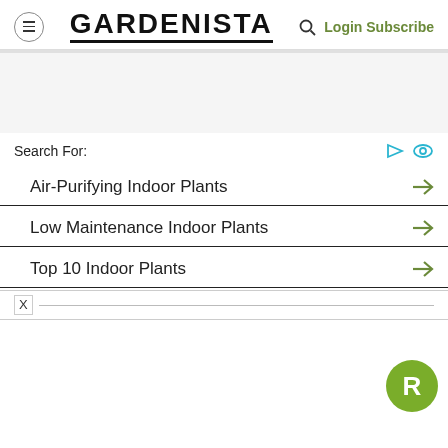GARDENISTA — Login Subscribe
Search For:
Air-Purifying Indoor Plants →
Low Maintenance Indoor Plants →
Top 10 Indoor Plants →
[Figure (logo): Green circular badge with white letter R]